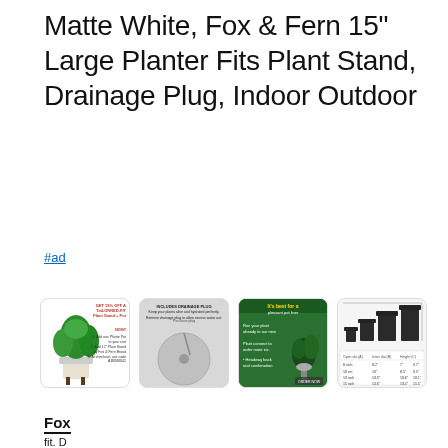Matte White, Fox & Fern 15" Large Planter Fits Plant Stand, Drainage Plug, Indoor Outdoor
#ad
[Figure (photo): Four product thumbnail images showing a white planter with plant stand, a drainage plug close-up, a green promotional graphic with plant, and a size comparison chart of planters]
Fox
fit. D
plan
fibe
star
work of art.
As an Amazon Associate I earn from qualifying purchases. This website uses the only necessary cookies to ensure you get the best experience on our website. More information